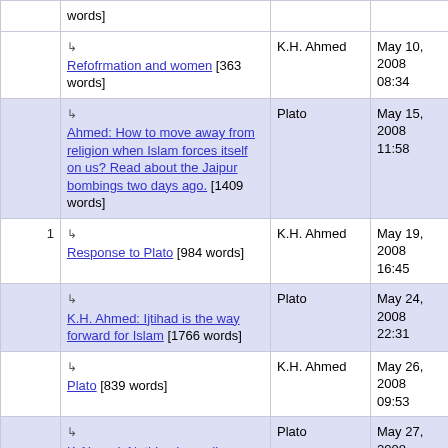| # | Title | Author | Date |
| --- | --- | --- | --- |
|  | ↳ Refofrmation and women [363 words] | K.H. Ahmed | May 10, 2008 08:34 |
|  | ↳ Ahmed: How to move away from religion when Islam forces itself on us? Read about the Jaipur bombings two days ago. [1409 words] | Plato | May 15, 2008 11:58 |
| 1 | ↳ Response to Plato [984 words] | K.H. Ahmed | May 19, 2008 16:45 |
|  | ↳ K.H. Ahmed: Ijtihad is the way forward for Islam [1766 words] | Plato | May 24, 2008 22:31 |
|  | ↳ Plato [839 words] | K.H. Ahmed | May 26, 2008 09:53 |
|  | ↳ K.Ahmed: Nothing I can disagree with [60 words] | Plato | May 27, 2008 10:55 |